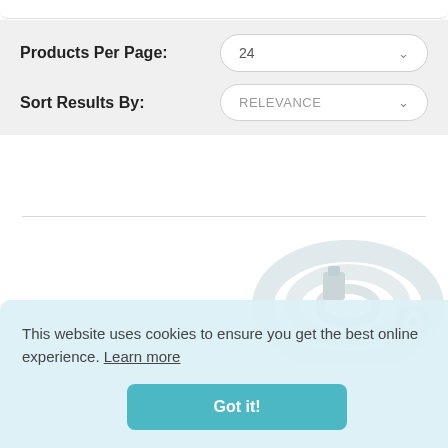Products Per Page:
24
Sort Results By:
RELEVANCE
[Figure (photo): A coiled white hose or cable product shown partially behind a cookie consent banner]
This website uses cookies to ensure you get the best online experience. Learn more
Got it!